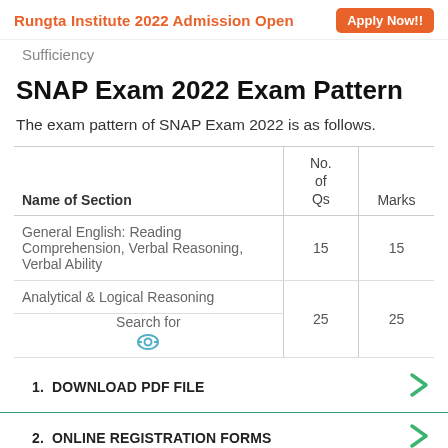Rungta Institute 2022 Admission Open  Apply Now!!
Sufficiency
SNAP Exam 2022 Exam Pattern
The exam pattern of SNAP Exam 2022 is as follows.
| Name of Section | No. of Qs | Marks |
| --- | --- | --- |
| General English: Reading Comprehension, Verbal Reasoning, Verbal Ability | 15 | 15 |
| Analytical & Logical Reasoning Search for | 25 | 25 |
1.  DOWNLOAD PDF FILE
2.  ONLINE REGISTRATION FORMS